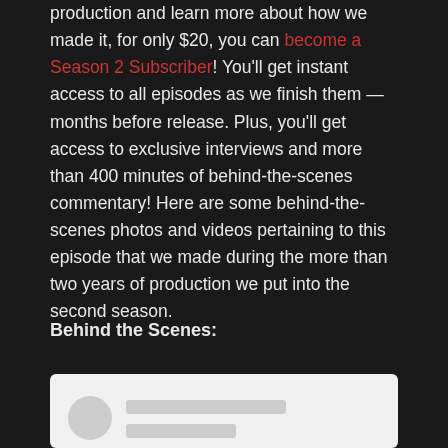production and learn more about how we made it, for only $20, you can become a Season 2 Subscriber! You'll get instant access to all episodes as we finish them — months before release. Plus, you'll get access to exclusive interviews and more than 400 minutes of behind-the-scenes commentary! Here are some behind-the-scenes photos and videos pertaining to this episode that we made during the more than two years of production we put into the second season.
Behind the Scenes:
[Figure (screenshot): Embedded media player or social post preview showing a grey rounded rectangle with a circular avatar placeholder and two grey bar placeholders for text/title lines.]